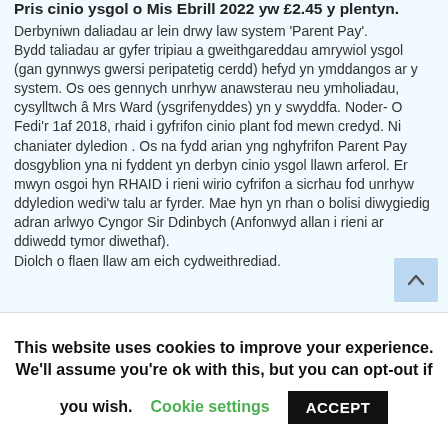Pris cinio ysgol o Mis Ebrill 2022 yw £2.45 y plentyn.
Derbyniwn daliadau ar lein drwy law system 'Parent Pay'. Bydd taliadau ar gyfer tripiau a gweithgareddau amrywiol ysgol (gan gynnwys gwersi peripatetig cerdd) hefyd yn ymddangos ar y system. Os oes gennych unrhyw anawsterau neu ymholiadau, cysylltwch â Mrs Ward (ysgrifenyddes) yn y swyddfa. Noder- O Fedi'r 1af 2018, rhaid i gyfrifon cinio plant fod mewn credyd. Ni chaniater dyledion . Os na fydd arian yng nghyfrifon Parent Pay dosgyblion yna ni fyddent yn derbyn cinio ysgol llawn arferol. Er mwyn osgoi hyn RHAID i rieni wirio cyfrifon a sicrhau fod unrhyw ddyledion wedi'w talu ar fyrder. Mae hyn yn rhan o bolisi diwygiedig adran arlwyo Cyngor Sir Ddinbych (Anfonwyd allan i rieni ar ddiwedd tymor diwethaf). Diolch o flaen llaw am eich cydweithrediad.
This website uses cookies to improve your experience. We'll assume you're ok with this, but you can opt-out if you wish.
Cookie settings
ACCEPT